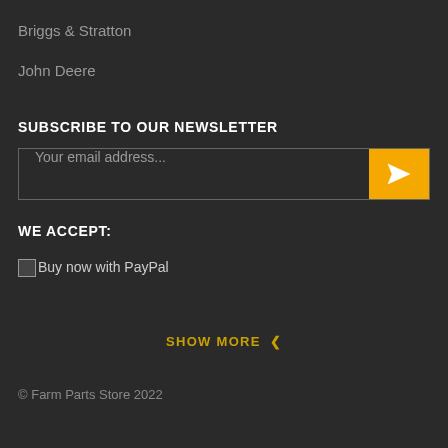Briggs & Stratton
John Deere
SUBSCRIBE TO OUR NEWSLETTER
Your email address...
WE ACCEPT:
Buy now with PayPal
SHOW MORE
© Farm Parts Store 2022